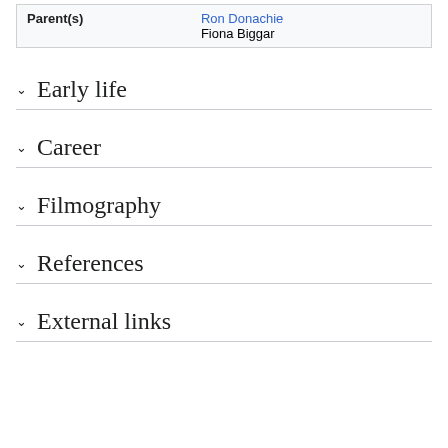| Parent(s) |  |
| --- | --- |
| Parent(s) | Ron Donachie
Fiona Biggar |
Early life
Career
Filmography
References
External links